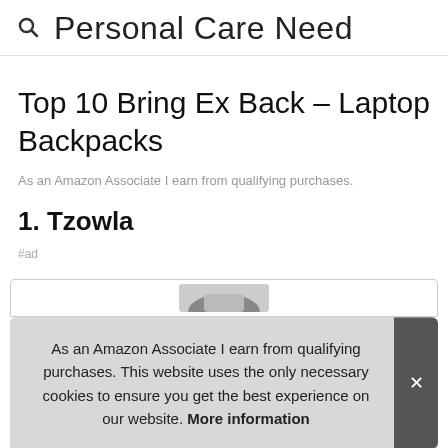Personal Care Need
Top 10 Bring Ex Back – Laptop Backpacks
As an Amazon Associate I earn from qualifying purchases.
1. Tzowla
#ad
As an Amazon Associate I earn from qualifying purchases. This website uses the only necessary cookies to ensure you get the best experience on our website. More information